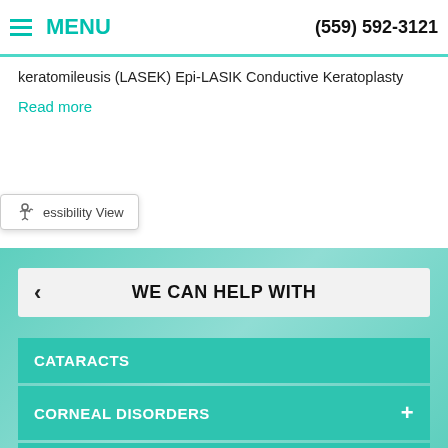MENU  (559) 592-3121
keratomileusis (LASEK) Epi-LASIK Conductive Keratoplasty
Read more
essibility View
WE CAN HELP WITH
CATARACTS
CORNEAL DISORDERS
GLAUCOMA
REFRACTIVE DISORDERS